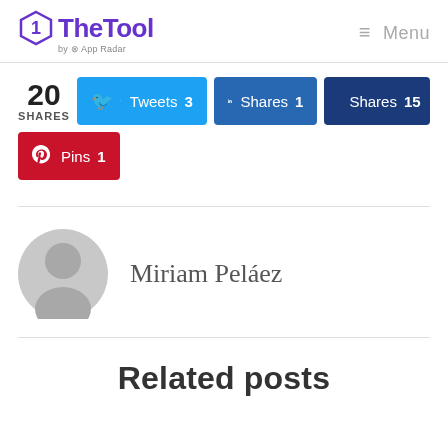TheTool by App Radar — Menu
20 SHARES   Tweets 3   Shares 1   Shares 15   Pins 1
Miriam Peláez
Related posts